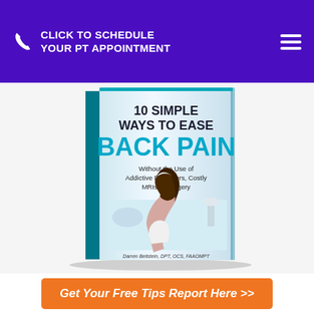CLICK TO SCHEDULE YOUR PT APPOINTMENT
[Figure (illustration): Book cover: '10 Simple Ways to Ease Back Pain Without the Use of Addictive Painkillers, Costly MRIs or Surgery' by Darren Beilstein, DPT, OCS, FAAOMPT. Shows a woman sitting on a bed holding her back.]
Get Your Free Tips Report Here >>